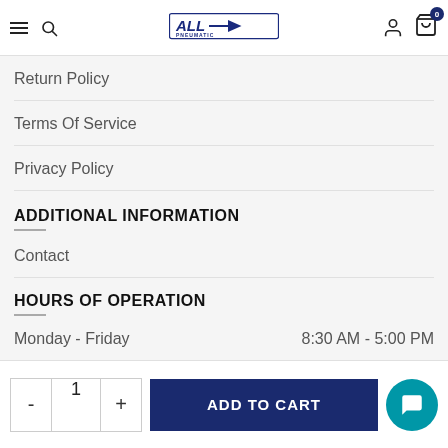All Pneumatic — navigation header with logo, search, hamburger, user and cart icons
Return Policy
Terms Of Service
Privacy Policy
ADDITIONAL INFORMATION
Contact
HOURS OF OPERATION
Monday - Friday   8:30 AM - 5:00 PM
- 1 + ADD TO CART